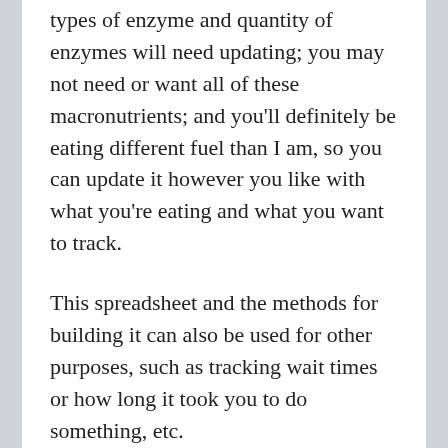types of enzyme and quantity of enzymes will need updating; you may not need or want all of these macronutrients; and you'll definitely be eating different fuel than I am, so you can update it however you like with what you're eating and what you want to track.
This spreadsheet and the methods for building it can also be used for other purposes, such as tracking wait times or how long it took you to do something, etc.
(If you do find this blog post and use this spreadsheet concept, let